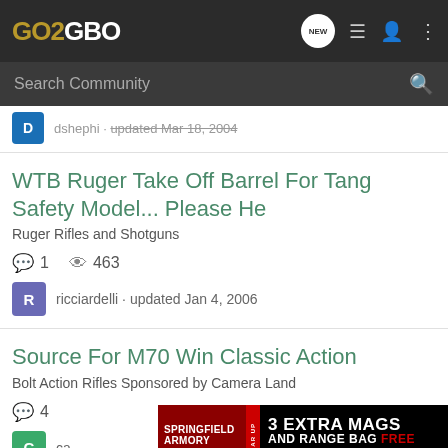GO2GBO
Search Community
dshephi · updated Mar 18, 2004
WTB Ruger Take Off Barrel For Tang Safety Model... Please He
Ruger Rifles and Shotguns
1  463
ricciardelli · updated Jan 4, 2006
Source For M70 Win Classic Action
Bolt Action Rifles Sponsored by Camera Land
4
ca
[Figure (illustration): Springfield Armory advertisement: 3 Extra Mags and Range Bag Free with any new striker fired handgun purchase]